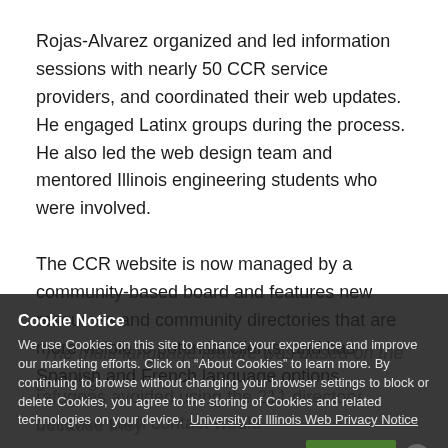Rojas-Alvarez organized and led information sessions with nearly 50 CCR service providers, and coordinated their web updates. He engaged Latinx groups during the process. He also led the web design team and mentored Illinois engineering students who were involved.
The CCR website is now managed by a community-based board and features new resources and community directories that are more visible to potential clients, and has Spanish and French language options.
"The multi-language feature was based on the growing
refugees avoided using the 211 directory because they
believed such contact would
Cookie Notice
We use Cookies on this site to enhance your experience and improve our marketing efforts. Click on “About Cookies” to learn more. By continuing to browse without changing your browser settings to block or delete Cookies, you agree to the storing of Cookies and related technologies on your device. University of Illinois Web Privacy Notice